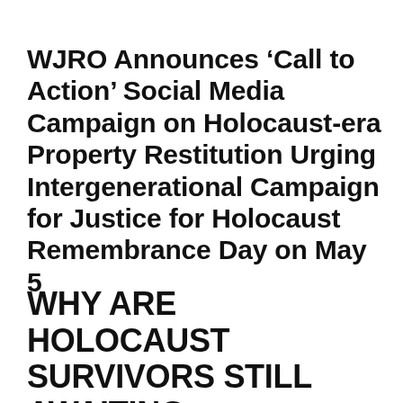WJRO Announces ‘Call to Action’ Social Media Campaign on Holocaust-era Property Restitution Urging Intergenerational Campaign for Justice for Holocaust Remembrance Day on May 5
WHY ARE HOLOCAUST SURVIVORS STILL AWAITING RESTITUTION MORE THAN 70